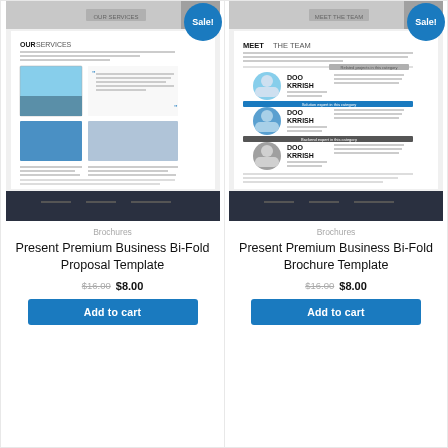[Figure (screenshot): Product card 1: Brochure template thumbnail showing 'Our Services' page with images and text]
Brochures
Present Premium Business Bi-Fold Proposal Template
$16.00 $8.00
Add to cart
[Figure (screenshot): Product card 2: Brochure template thumbnail showing 'Meet The Team' page with team member profiles]
Brochures
Present Premium Business Bi-Fold Brochure Template
$16.00 $8.00
Add to cart